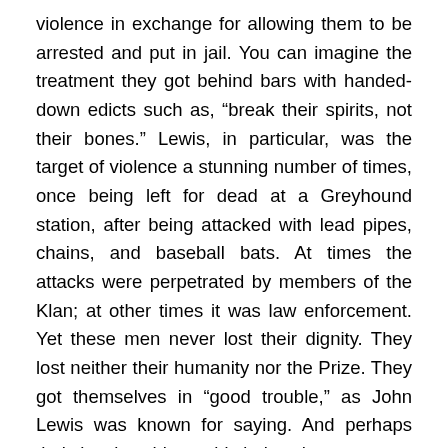violence in exchange for allowing them to be arrested and put in jail. You can imagine the treatment they got behind bars with handed-down edicts such as, “break their spirits, not their bones.” Lewis, in particular, was the target of violence a stunning number of times, once being left for dead at a Greyhound station, after being attacked with lead pipes, chains, and baseball bats. At times the attacks were perpetrated by members of the Klan; at other times it was law enforcement. Yet these men never lost their dignity. They lost neither their humanity nor the Prize. They got themselves in “good trouble,” as John Lewis was known for saying. And perhaps their leaving this world during these present roiling times was a way of saying to us: Yours is not the first of such trials, but never lose hope. Change does come.
So, the match has been lit. Lit for protest and action, which